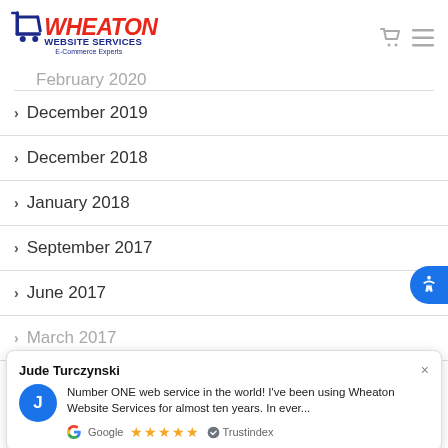[Figure (logo): Wheaton Website Services logo with shopping cart icon, red and dark blue text, subtitle E-Commerce Experts]
December 2019
December 2018
January 2018
September 2017
June 2017
March 2017
Jude Turczynski — Number ONE web service in the world! I've been using Wheaton Website Services for almost ten years. In ever... — Google ★★★★★ ✓ Trustindex